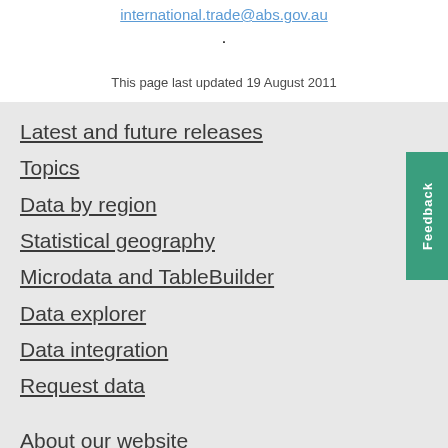international.trade@abs.gov.au.
This page last updated 19 August 2011
Latest and future releases
Topics
Data by region
Statistical geography
Microdata and TableBuilder
Data explorer
Data integration
Request data
About our website
Work with us